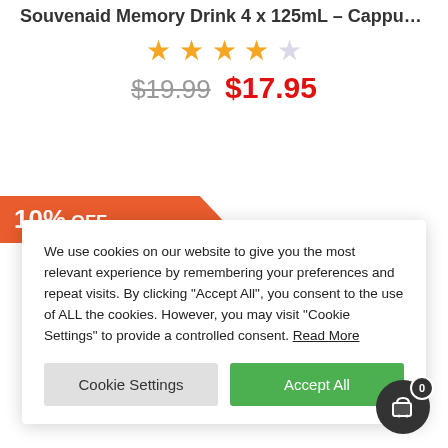Souvenaid Memory Drink 4 x 125mL – Cappuccino Flavour
[Figure (other): 4.5 out of 5 stars rating (4 filled stars, 1 empty star in orange/grey)]
$19.99  $17.95
[Figure (infographic): 10% OFF ribbon banner in orange]
We use cookies on our website to give you the most relevant experience by remembering your preferences and repeat visits. By clicking "Accept All", you consent to the use of ALL the cookies. However, you may visit "Cookie Settings" to provide a controlled consent. Read More
Cookie Settings  |  Accept All